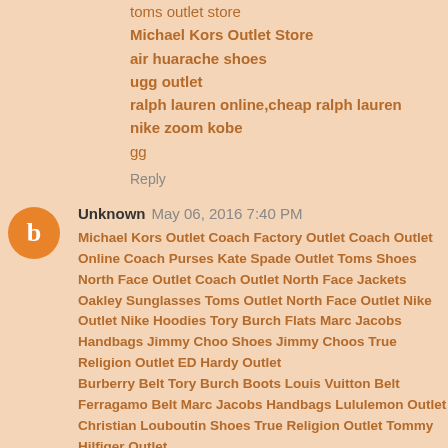toms outlet store
Michael Kors Outlet Store
air huarache shoes
ugg outlet
ralph lauren online,cheap ralph lauren
nike zoom kobe
gg
Reply
Unknown  May 06, 2016 7:40 PM
Michael Kors Outlet Coach Factory Outlet Coach Outlet Online Coach Purses Kate Spade Outlet Toms Shoes North Face Outlet Coach Outlet North Face Jackets Oakley Sunglasses Toms Outlet North Face Outlet Nike Outlet Nike Hoodies Tory Burch Flats Marc Jacobs Handbags Jimmy Choo Shoes Jimmy Choos True Religion Outlet ED Hardy Outlet Burberry Belt Tory Burch Boots Louis Vuitton Belt Ferragamo Belt Marc Jacobs Handbags Lululemon Outlet Christian Louboutin Shoes True Religion Outlet Tommy Hilfiger Outlet